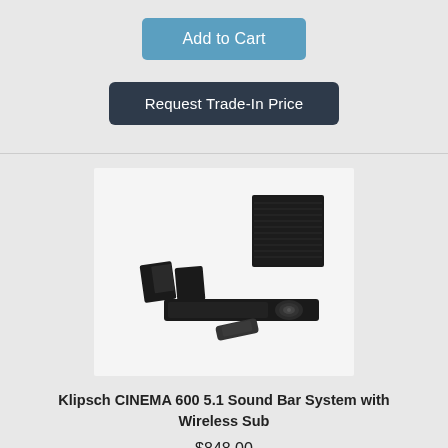Add to Cart
Request Trade-In Price
[Figure (photo): Klipsch CINEMA 600 5.1 Sound Bar System with Wireless Subwoofer product image showing soundbar, satellite speakers, subwoofer, and remote control]
Klipsch CINEMA 600 5.1 Sound Bar System with Wireless Sub
$848.00